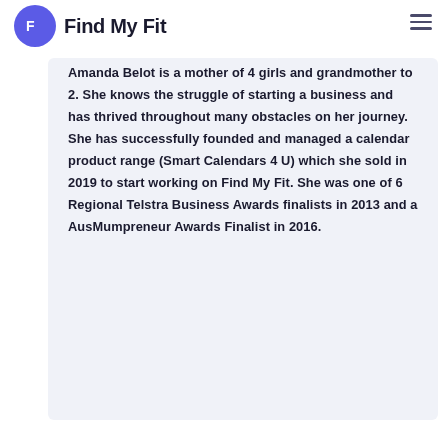Find My Fit
Amanda Belot is a mother of 4 girls and grandmother to 2. She knows the struggle of starting a business and has thrived throughout many obstacles on her journey. She has successfully founded and managed a calendar product range (Smart Calendars 4 U) which she sold in 2019 to start working on Find My Fit. She was one of 6 Regional Telstra Business Awards finalists in 2013 and a AusMumpreneur Awards Finalist in 2016.